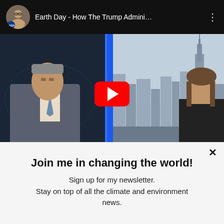[Figure (screenshot): YouTube video thumbnail showing a TV news broadcast with two anchors and a play button overlay. The video title reads 'Earth Day - How The Trump Admini…' with a NASA channel avatar.]
Join me in changing the world!
Sign up for my newsletter. Stay on top of all the climate and environment news.